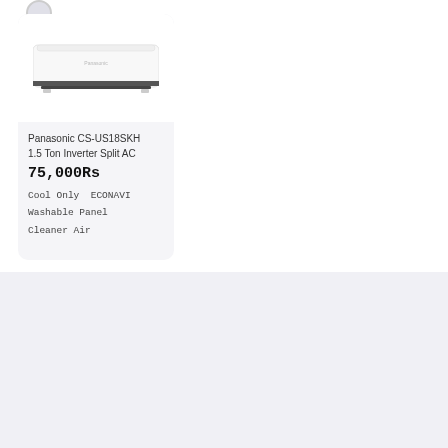[Figure (photo): Panasonic split AC unit wall-mounted indoor unit, white color with dark stripe]
Panasonic CS-US18SKH 1.5 Ton Inverter Split AC
75,000Rs
Cool Only  ECONAVI
Washable Panel
Cleaner Air